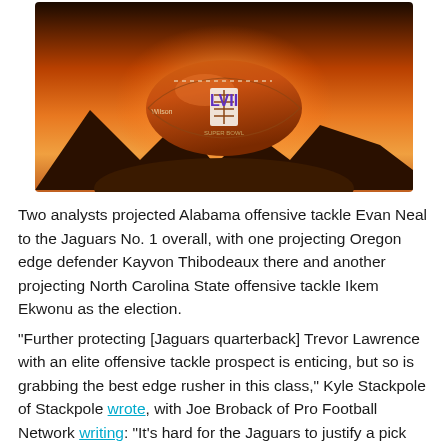[Figure (photo): Super Bowl LVII promotional image showing a football with the Super Bowl LVII logo against a dramatic sunset background with mountains]
Two analysts projected Alabama offensive tackle Evan Neal to the Jaguars No. 1 overall, with one projecting Oregon edge defender Kayvon Thibodeaux there and another projecting North Carolina State offensive tackle Ikem Ekwonu as the election.
"Further protecting [Jaguars quarterback] Trevor Lawrence with an elite offensive tackle prospect is enticing, but so is grabbing the best edge rusher in this class," Kyle Stackpole of Stackpole wrote, with Joe Broback of Pro Football Network writing: "It's hard for the Jaguars to justify a pick that doesn't include
[Figure (infographic): Social media sharing icons: Facebook, Twitter, Email, Link]